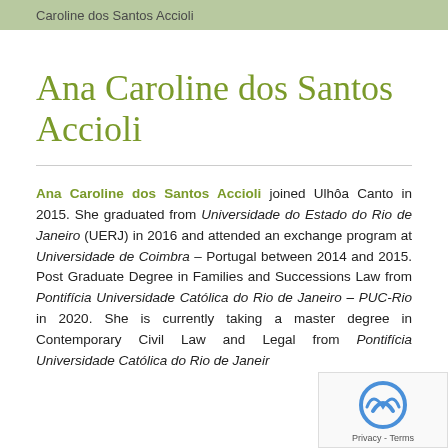Caroline dos Santos Accioli
Ana Caroline dos Santos Accioli
Ana Caroline dos Santos Accioli joined Ulhôa Canto in 2015. She graduated from Universidade do Estado do Rio de Janeiro (UERJ) in 2016 and attended an exchange program at Universidade de Coimbra – Portugal between 2014 and 2015. Post Graduate Degree in Families and Successions Law from Pontifícia Universidade Católica do Rio de Janeiro – PUC-Rio in 2020. She is currently taking a master degree in Contemporary Civil Law and Legal from Pontifícia Universidade Católica do Rio de Janeiro – Rio.